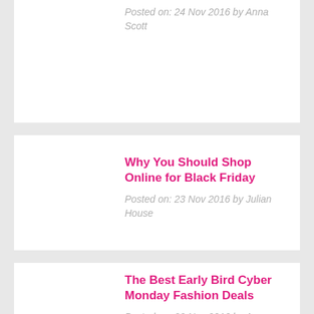Posted on: 24 Nov 2016 by Anna Scott
Why You Should Shop Online for Black Friday
Posted on: 23 Nov 2016 by Julian House
The Best Early Bird Cyber Monday Fashion Deals
Posted on: 22 Nov 2016 by Anna Scott